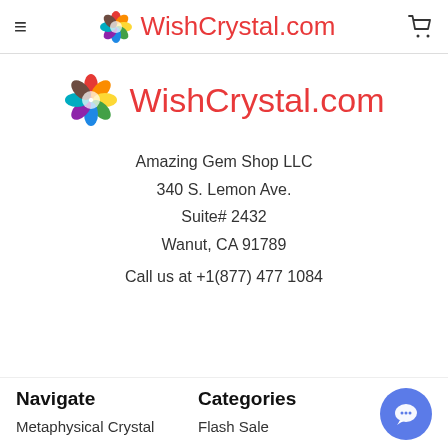WishCrystal.com
[Figure (logo): WishCrystal.com logo with colorful flower and red text]
Amazing Gem Shop LLC
340 S. Lemon Ave.
Suite# 2432
Wanut, CA 91789
Call us at +1(877) 477 1084
Navigate
Categories
Metaphysical Crystal
Flash Sale